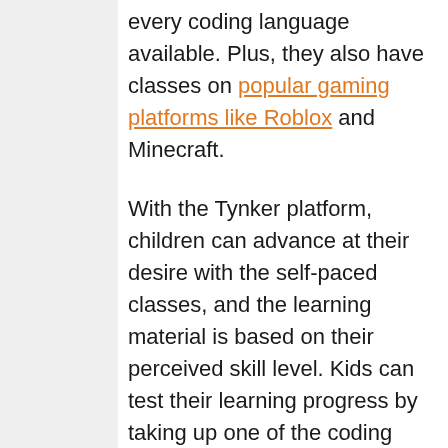every coding language available. Plus, they also have classes on popular gaming platforms like Roblox and Minecraft.
With the Tynker platform, children can advance at their desire with the self-paced classes, and the learning material is based on their perceived skill level. Kids can test their learning progress by taking up one of the coding projects suggested by the platform.
With millions of children served and partnerships with schools worldwide, Tynker is one of the best places for children to learn how to code online and who want a better STEM education.
10. Code Transform